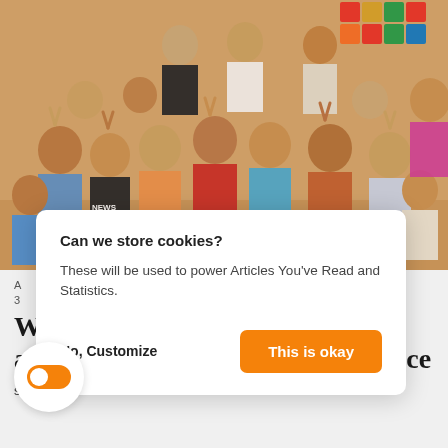[Figure (photo): Group photo of many children and some adults making peace/victory signs with their fingers, indoors in front of colorful posters and SDG icons on the wall]
A
3
W... ...each us about preventing electoral violence
s... Paige
Can we store cookies?
These will be used to power Articles You've Read and Statistics.
No, Customize    This is okay